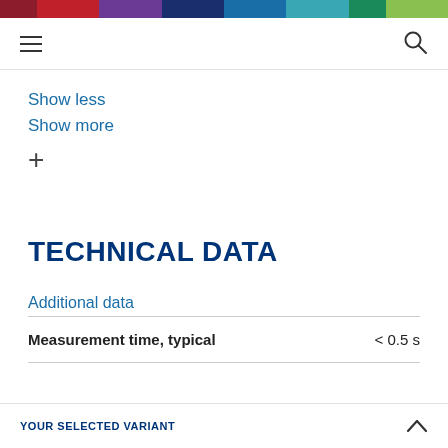Navigation bar with hamburger menu and search icon
Show less
Show more
TECHNICAL DATA
Additional data
|  |  |
| --- | --- |
| Measurement time, typical | < 0.5 s |
YOUR SELECTED VARIANT